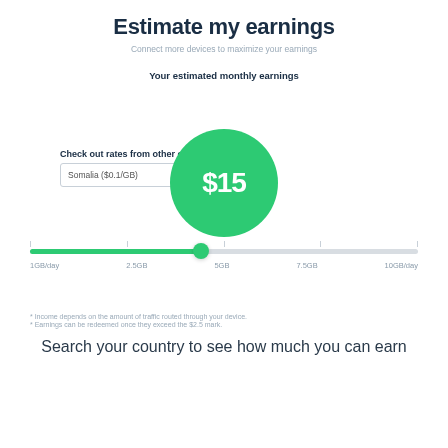Estimate my earnings
Connect more devices to maximize your earnings
Your estimated monthly earnings
[Figure (infographic): Large green circle showing $15 estimated monthly earnings, with a country selector dropdown for Somalia ($0.1/GB) and a horizontal slider set at approximately 5GB position on a 1GB/day to 10GB/day scale.]
* Income depends on the amount of traffic routed through your device.
* Earnings can be redeemed once they exceed the $2.5 mark.
Search your country to see how much you can earn